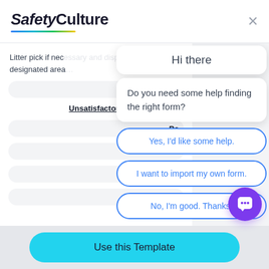SafetyCulture
Litter pick if necessary and dispose of rubbish to designated area
Unsatisfactory
Po
Goo
Hi there
Do you need some help finding the right form?
Yes, I'd like some help.
I want to import my own form.
No, I'm good. Thanks!
Use this Template